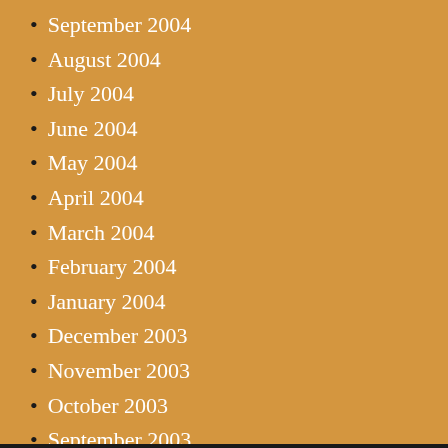September 2004
August 2004
July 2004
June 2004
May 2004
April 2004
March 2004
February 2004
January 2004
December 2003
November 2003
October 2003
September 2003
August 2003